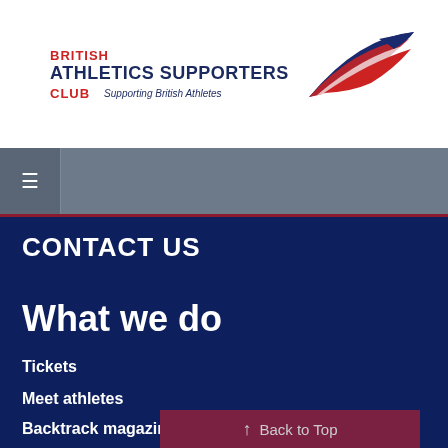[Figure (logo): British Athletics Supporters Club logo with red, white and blue feather/wing swoosh graphic and text 'BRITISH ATHLETICS SUPPORTERS CLUB Supporting British Athletes']
≡
CONTACT US
What we do
Tickets
Meet athletes
Backtrack magazine
↑ Back to Top